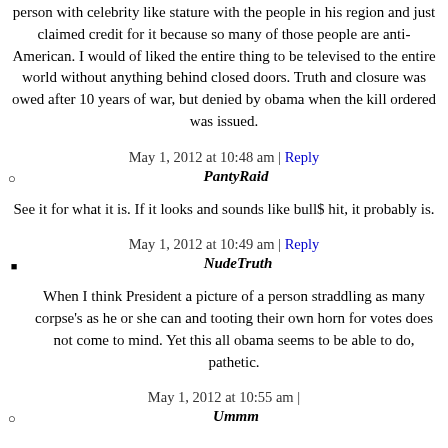person with celebrity like stature with the people in his region and just claimed credit for it because so many of those people are anti-American. I would of liked the entire thing to be televised to the entire world without anything behind closed doors. Truth and closure was owed after 10 years of war, but denied by obama when the kill ordered was issued.
May 1, 2012 at 10:48 am | Reply
PantyRaid
See it for what it is. If it looks and sounds like bull$ hit, it probably is.
May 1, 2012 at 10:49 am | Reply
NudeTruth
When I think President a picture of a person straddling as many corpse's as he or she can and tooting their own horn for votes does not come to mind. Yet this all obama seems to be able to do, pathetic.
May 1, 2012 at 10:55 am |
Ummm